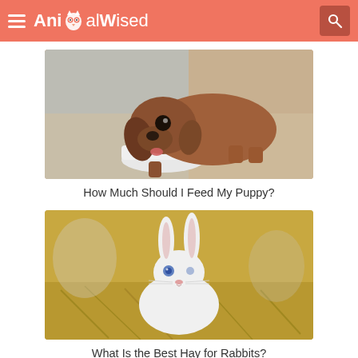AnimalWised
[Figure (photo): A brown dachshund puppy drinking from a white bowl]
How Much Should I Feed My Puppy?
[Figure (photo): A white rabbit sitting in hay]
What Is the Best Hay for Rabbits?